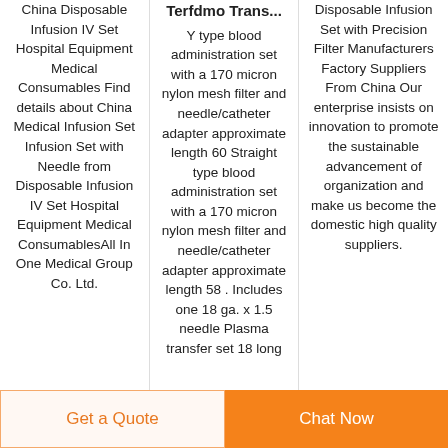China Disposable Infusion IV Set Hospital Equipment Medical Consumables Find details about China Medical Infusion Set Infusion Set with Needle from Disposable Infusion IV Set Hospital Equipment Medical ConsumablesAll In One Medical Group Co. Ltd.
Terfdmo Trans...
Y type blood administration set with a 170 micron nylon mesh filter and needle/catheter adapter approximate length 60 Straight type blood administration set with a 170 micron nylon mesh filter and needle/catheter adapter approximate length 58 . Includes one 18 ga. x 1.5 needle Plasma transfer set 18 long
Disposable Infusion Set with Precision Filter Manufacturers Factory Suppliers From China Our enterprise insists on innovation to promote the sustainable advancement of organization and make us become the domestic high quality suppliers.
Get a Quote | Chat Now